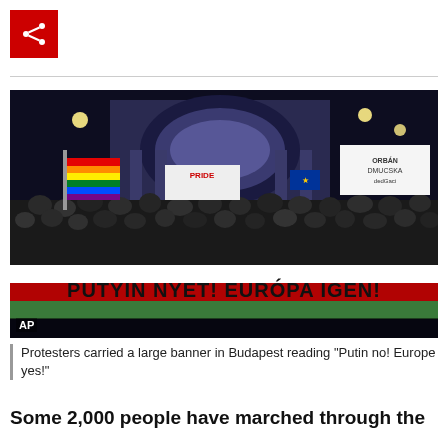[Figure (photo): Share button icon — red square with white share/network icon]
[Figure (photo): Nighttime protest photo in Budapest. A large crowd of protesters carrying a banner reading 'PUTYIN NYET! EURÓPA IGEN!' (Putin no! Europe yes!) in Hungarian flag colors (white/green/red). People also carry rainbow pride flag and EU flags. Grand railway station building illuminated in background. AP watermark visible.]
Protesters carried a large banner in Budapest reading "Putin no! Europe yes!"
Some 2,000 people have marched through the